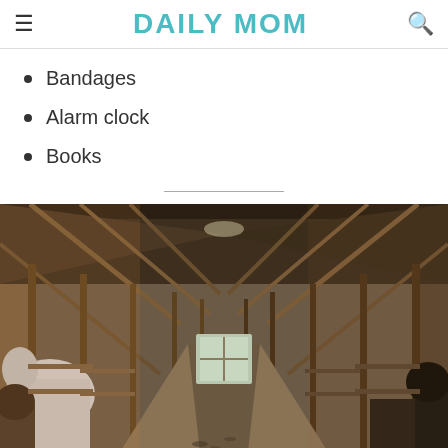DAILY MOM
Bandages
Alarm clock
Books
[Figure (photo): Interior of a wooden barn with horses in stalls on both sides, wooden beam ceiling, dirt floor aisle leading to a window at the far end.]